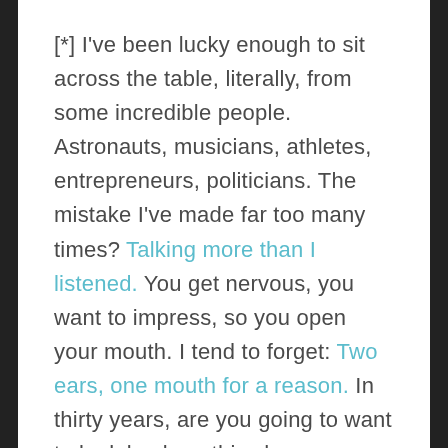[*] I've been lucky enough to sit across the table, literally, from some incredible people. Astronauts, musicians, athletes, entrepreneurs, politicians. The mistake I've made far too many times? Talking more than I listened. You get nervous, you want to impress, so you open your mouth. I tend to forget: Two ears, one mouth for a reason. In thirty years, are you going to want to look back on this chance encounter and think about what you said, or what you got them to say? So shut up!